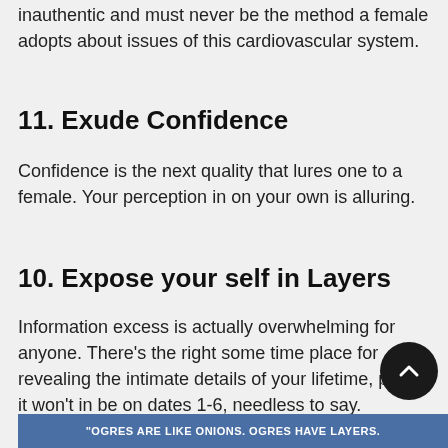inauthentic and must never be the method a female adopts about issues of this cardiovascular system.
11. Exude Confidence
Confidence is the next quality that lures one to a female. Your perception in on your own is alluring.
10. Expose your self in Layers
Information excess is actually overwhelming for anyone. There’s the right some time place for revealing the intimate details of your lifetime, plus it won’t in be on dates 1-6, needless to say.
[Figure (illustration): Blue banner with white bold text reading: "OGRES ARE LIKE ONIONS. OGRES HAVE LAYERS."]